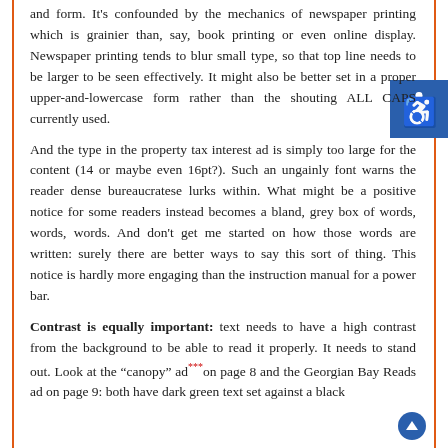and form. It's confounded by the mechanics of newspaper printing which is grainier than, say, book printing or even online display. Newspaper printing tends to blur small type, so that top line needs to be larger to be seen effectively. It might also be better set in a proper upper-and-lowercase form rather than the shouting ALL CAPS currently used.
And the type in the property tax interest ad is simply too large for the content (14 or maybe even 16pt?). Such an ungainly font warns the reader dense bureaucratese lurks within. What might be a positive notice for some readers instead becomes a bland, grey box of words, words, words. And don't get me started on how those words are written: surely there are better ways to say this sort of thing. This notice is hardly more engaging than the instruction manual for a power bar.
Contrast is equally important: text needs to have a high contrast from the background to be able to read it properly. It needs to stand out. Look at the “canopy” ad*** on page 8 and the Georgian Bay Reads ad on page 9: both have dark green text set against a black background, making them difficult to read.
[Figure (infographic): Accessibility icon (wheelchair symbol) in white on blue square background, positioned at top right]